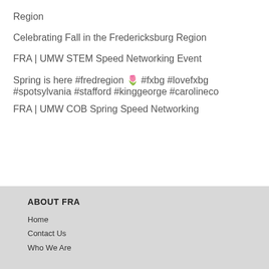Region
Celebrating Fall in the Fredericksburg Region
FRA | UMW STEM Speed Networking Event
Spring is here #fredregion 🌷 #fxbg #lovefxbg #spotsylvania #stafford #kinggeorge #carolineco
FRA | UMW COB Spring Speed Networking
ABOUT FRA
Home
Contact Us
Who We Are